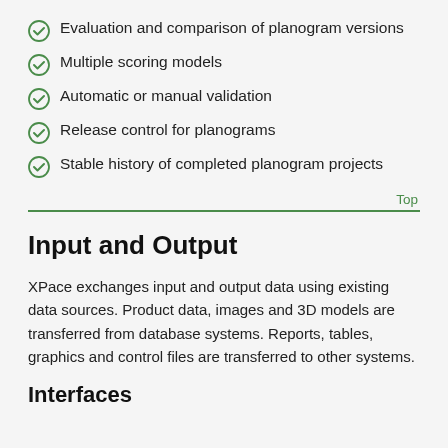Evaluation and comparison of planogram versions
Multiple scoring models
Automatic or manual validation
Release control for planograms
Stable history of completed planogram projects
Top
Input and Output
XPace exchanges input and output data using existing data sources. Product data, images and 3D models are transferred from database systems. Reports, tables, graphics and control files are transferred to other systems.
Interfaces